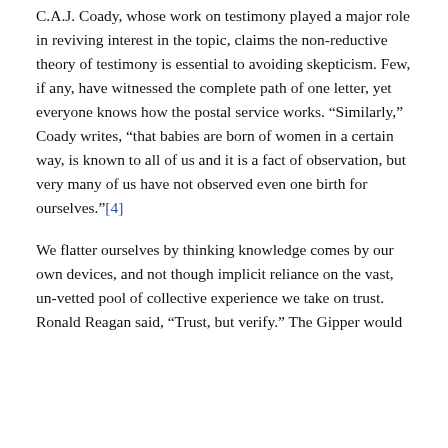C.A.J. Coady, whose work on testimony played a major role in reviving interest in the topic, claims the non-reductive theory of testimony is essential to avoiding skepticism. Few, if any, have witnessed the complete path of one letter, yet everyone knows how the postal service works. “Similarly,” Coady writes, “that babies are born of women in a certain way, is known to all of us and it is a fact of observation, but very many of us have not observed even one birth for ourselves.”[4]
We flatter ourselves by thinking knowledge comes by our own devices, and not though implicit reliance on the vast, un-vetted pool of collective experience we take on trust. Ronald Reagan said, “Trust, but verify.” The Gipper would